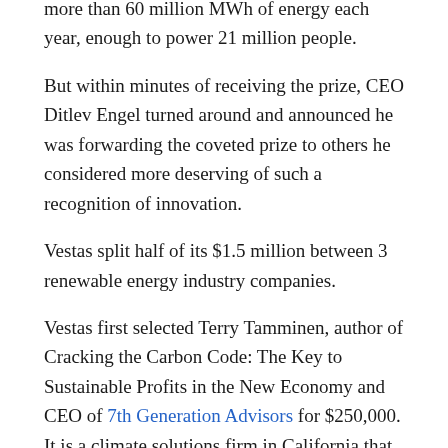more than 60 million MWh of energy each year, enough to power 21 million people.
But within minutes of receiving the prize, CEO Ditlev Engel turned around and announced he was forwarding the coveted prize to others he considered more deserving of such a recognition of innovation.
Vestas split half of its $1.5 million between 3 renewable energy industry companies.
Vestas first selected Terry Tamminen, author of Cracking the Carbon Code: The Key to Sustainable Profits in the New Economy and CEO of 7th Generation Advisors for $250,000. It is a climate solutions firm in California that helps businesses reduce carbon costs – and advises